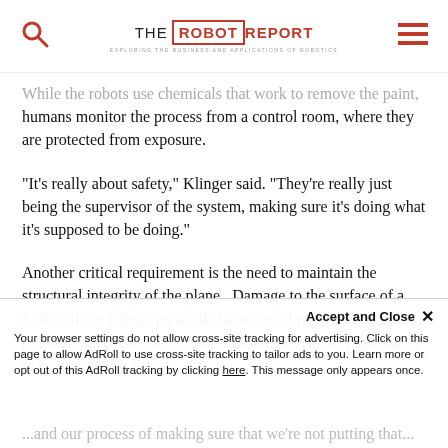THE ROBOT REPORT — EXPLORING THE BUSINESS AND APPLICATIONS OF ROBOTICS
While the robots use chemicals that work to remove the paint, humans monitor the process from a control room, where they are protected from exposure.
“It’s really about safety,” Klinger said. “They’re really just being the supervisor of the system, making sure it’s doing what it’s supposed to be doing.”
Another critical requirement is the need to maintain the structural integrity of the plane.  Damage to the surface of a $130 million fighter jet would be no small matter from a cost point of view.  But there is the ultimate priority of flight safety to consider as well.
Accept and Close × Your browser settings do not allow cross-site tracking for advertising. Click on this page to allow AdRoll to use cross-site tracking to tailor ads to you. Learn more or opt out of this AdRoll tracking by clicking here. This message only appears once.
...and our process of making sure that we’re not putting that...